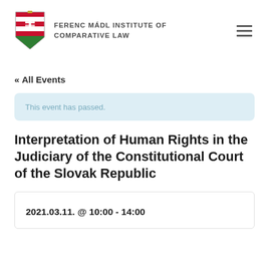[Figure (logo): Ferenc Mádl Institute of Comparative Law logo with Hungarian coat of arms shield and institute name]
« All Events
This event has passed.
Interpretation of Human Rights in the Judiciary of the Constitutional Court of the Slovak Republic
2021.03.11. @ 10:00 - 14:00